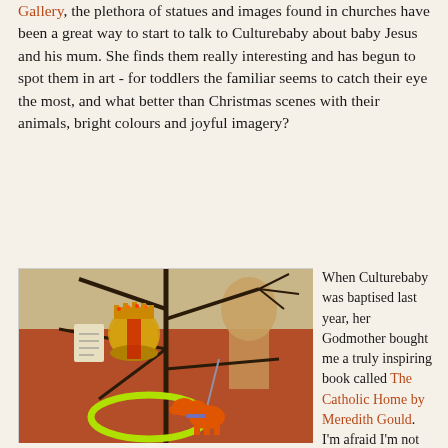Gallery, the plethora of statues and images found in churches have been a great way to start to talk to Culturebaby about baby Jesus and his mum. She finds them really interesting and has begun to spot them in art - for toddlers the familiar seems to catch their eye the most, and what better than Christmas scenes with their animals, bright colours and joyful imagery?
[Figure (photo): A photograph showing decorative ornaments including tree branches, a golden bell ornament with a crown, a neon yellow-green hoop, and a small orange wooden animal figure hanging on a string, with a red background]
When Culturebaby was baptised last year, her Godmother bought me a truly inspiring book called The Catholic Home by Meredith Gould. I'm afraid I'm not really one for much theological reading, but this book is practical and brilliant. Taking a parent on a journey through the year, it explains